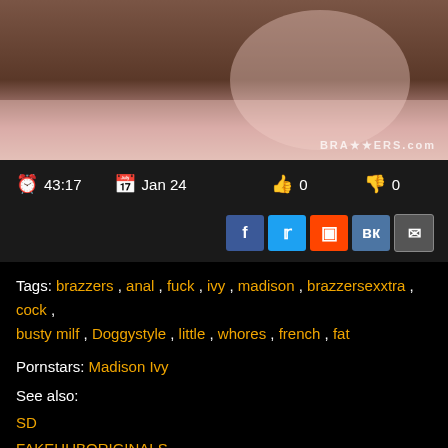[Figure (photo): Thumbnail screenshot from adult video website]
43:17   Jan 24   0   0
Tags: brazzers , anal , fuck , ivy , madison , brazzersexxtra , cock , busty milf , Doggystyle , little , whores , french , fat
Pornstars: Madison Ivy
See also:
SD
FAKEHUBORIGINALS
BRAZZERS BUTTS
HUSBAND
JON
TITS
ALEXIE FAWX